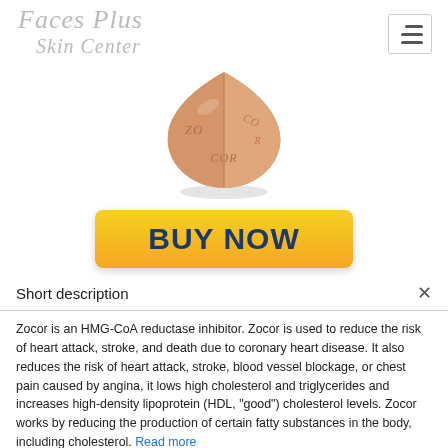Faces Plus Skin Center
[Figure (photo): A peach/copper-colored triangular pill with 'ZOCOR' text embossed on it]
[Figure (other): Yellow gradient BUY NOW button]
Short description
Zocor is an HMG-CoA reductase inhibitor. Zocor is used to reduce the risk of heart attack, stroke, and death due to coronary heart disease. It also reduces the risk of heart attack, stroke, blood vessel blockage, or chest pain caused by angina, it lows high cholesterol and triglycerides and increases high-density lipoprotein (HDL, "good") cholesterol levels. Zocor works by reducing the production of certain fatty substances in the body, including cholesterol. Read more